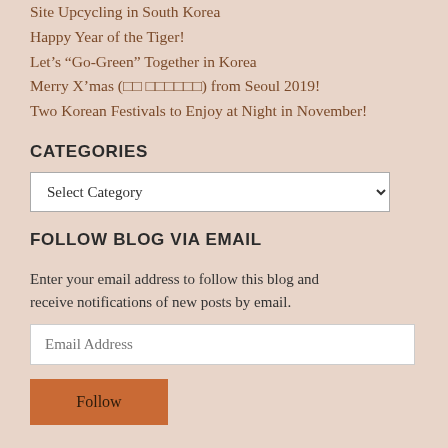Site Upcycling in South Korea
Happy Year of the Tiger!
Let’s “Go-Green” Together in Korea
Merry X’mas (□□ □□□□□□) from Seoul 2019!
Two Korean Festivals to Enjoy at Night in November!
CATEGORIES
Select Category
FOLLOW BLOG VIA EMAIL
Enter your email address to follow this blog and receive notifications of new posts by email.
Email Address
Follow
RSS LINKS